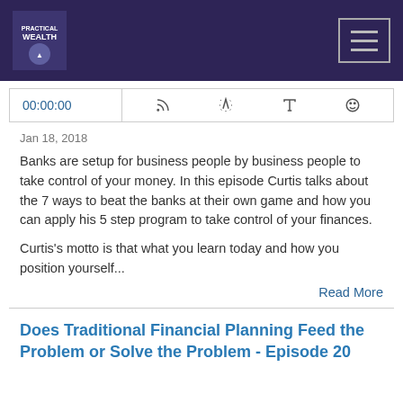Practical Wealth podcast header with navigation
00:00:00
Jan 18, 2018
Banks are setup for business people by business people to take control of your money. In this episode Curtis talks about the 7 ways to beat the banks at their own game and how you can apply his 5 step program to take control of your finances.
Curtis's motto is that what you learn today and how you position yourself...
Read More
Does Traditional Financial Planning Feed the Problem or Solve the Problem - Episode 20